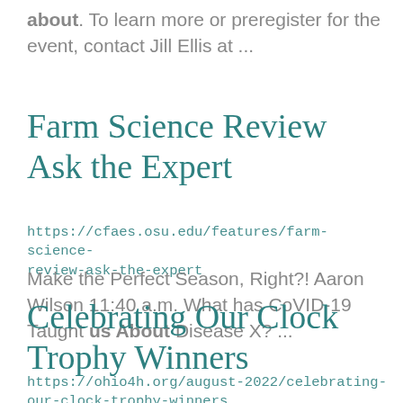about. To learn more or preregister for the event, contact Jill Ellis at ...
Farm Science Review Ask the Expert
https://cfaes.osu.edu/features/farm-science-review-ask-the-expert
Make the Perfect Season, Right?! Aaron Wilson 11:40 a.m. What has CoVID-19 Taught us About Disease X? ...
Celebrating Our Clock Trophy Winners
https://ohio4h.org/august-2022/celebrating-our-clock-trophy-winners